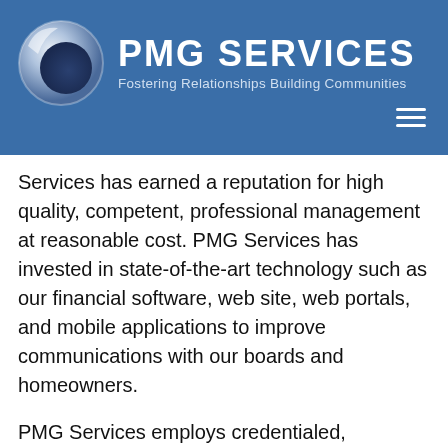[Figure (logo): PMG Services logo: a 3D globe/circle icon in silver-blue tones on the left, with 'PMG SERVICES' in large white bold uppercase text and tagline 'Fostering Relationships Building Communities' below]
Services has earned a reputation for high quality, competent, professional management at reasonable cost. PMG Services has invested in state-of-the-art technology such as our financial software, web site, web portals, and mobile applications to improve communications with our boards and homeowners.
PMG Services employs credentialed, designated community association managers, all of whom have earned at least one of the following designations: Certified Manager of Community Associations